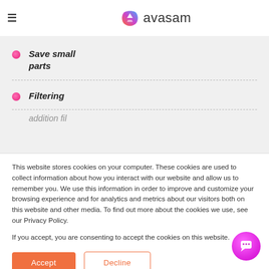avasam
Save small parts
Filtering
This website stores cookies on your computer. These cookies are used to collect information about how you interact with our website and allow us to remember you. We use this information in order to improve and customize your browsing experience and for analytics and metrics about our visitors both on this website and other media. To find out more about the cookies we use, see our Privacy Policy.
If you accept, you are consenting to accept the cookies on this website.